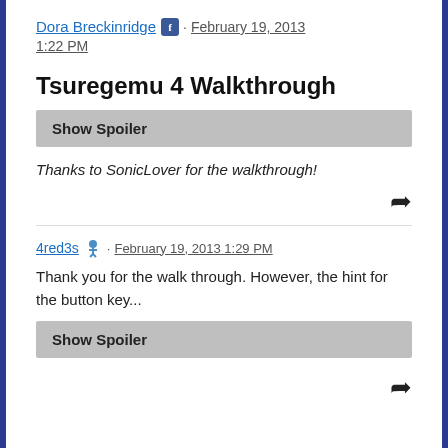Dora Breckinridge [fb] · February 19, 2013 1:22 PM
Tsuregemu 4 Walkthrough
Show Spoiler
Thanks to SonicLover for the walkthrough!
4red3s [icon] · February 19, 2013 1:29 PM
Thank you for the walk through. However, the hint for the button key...
Show Spoiler